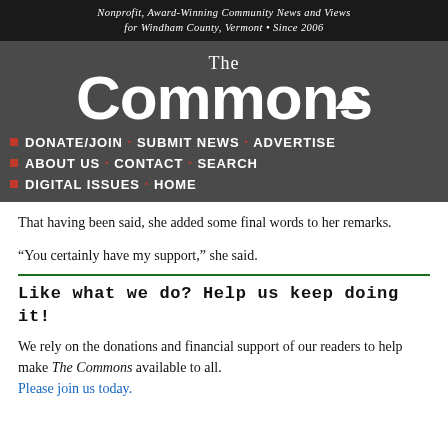Nonprofit, Award-Winning Community News and Views for Windham County, Vermont • Since 2006
[Figure (logo): The Commons newspaper logo in white on dark grey background]
DONATE/JOIN · SUBMIT NEWS · ADVERTISE
ABOUT US · CONTACT · SEARCH
DIGITAL ISSUES · HOME
That having been said, she added some final words to her remarks.
“You certainly have my support,” she said.
Like what we do? Help us keep doing it!
We rely on the donations and financial support of our readers to help make The Commons available to all. Please join us today.